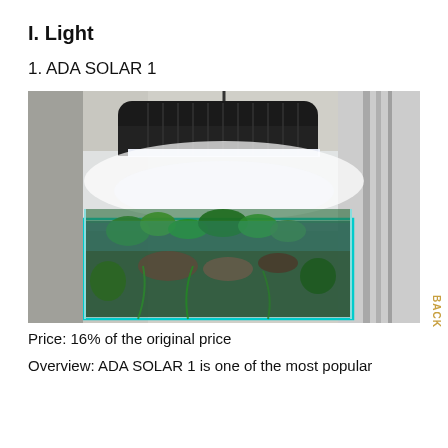I. Light
1. ADA SOLAR 1
[Figure (photo): Photo of an ADA SOLAR 1 aquarium light fixture hanging above a planted nano aquarium tank with green aquatic plants and fish visible through the glass.]
Price: 16% of the original price
Overview: ADA SOLAR 1 is one of the most popular